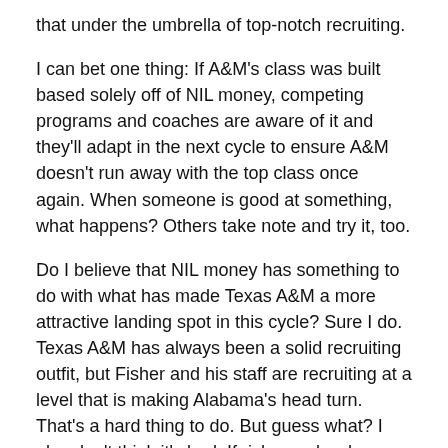that under the umbrella of top-notch recruiting.
I can bet one thing: If A&M's class was built based solely off of NIL money, competing programs and coaches are aware of it and they'll adapt in the next cycle to ensure A&M doesn't run away with the top class once again. When someone is good at something, what happens? Others take note and try it, too.
Do I believe that NIL money has something to do with what has made Texas A&M a more attractive landing spot in this cycle? Sure I do. Texas A&M has always been a solid recruiting outfit, but Fisher and his staff are recruiting at a level that is making Alabama's head turn. That's a hard thing to do. But guess what? I also don't think it's bad. If rich people who support Texas A&M want to toss cash at athletes who haven't performed yet, let them do it. It's about time these players earned as much money as humanly possible. The hard part is that NIL deals aren't public record so getting into specifics of who is getting what isn't possible.
So when you ask what is the driving force behind Texas A&M's class, it's a lot of things. One, the Aggies have done a tremendous job in the Houston area. Fisher, who won a national